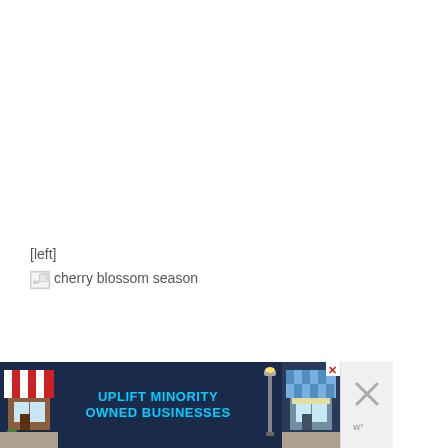[left]
[Figure (illustration): Broken image placeholder icon followed by alt text 'cherry blossom season']
[Figure (illustration): Advertisement banner: 'UPLIFT MINORITY OWNED BUSINESSES' with storefront illustrations on dark navy background, with close buttons]